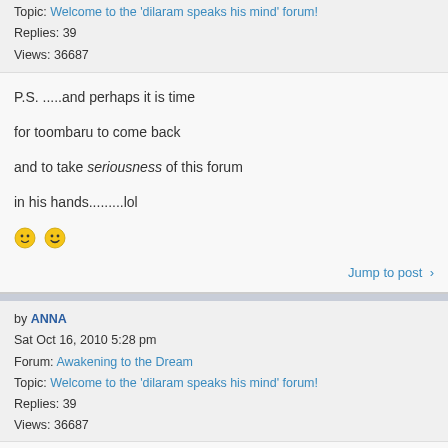Topic: Welcome to the 'dilaram speaks his mind' forum!
Replies: 39
Views: 36687
P.S. .....and perhaps it is time

for toombaru to come back

and to take seriousness of this forum

in his hands.........lol
Jump to post >
by ANNA
Sat Oct 16, 2010 5:28 pm
Forum: Awakening to the Dream
Topic: Welcome to the 'dilaram speaks his mind' forum!
Replies: 39
Views: 36687
is this forum have changed its name..... :roll: :shock: Is this forum have changed its name...? I'm trying to figure out what you mean... gonna have